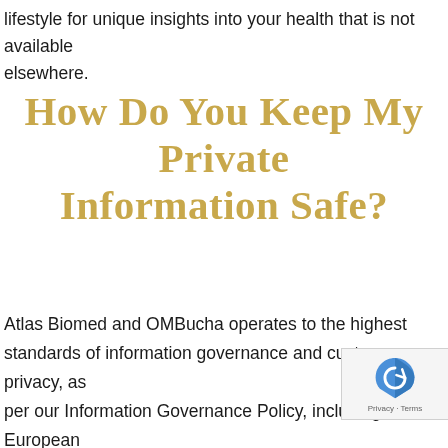lifestyle for unique insights into your health that is not available elsewhere.
How do you keep my private information safe?
Atlas Biomed and OMBucha operates to the highest standards of information governance and customer privacy, as per our Information Governance Policy, including European Data Protection Regulation. The transmission of data is encrypted at the point of dispatch and receipt. Your data is stored in anonymised form on the Atlas servers in the Kingdom, meaning [...]